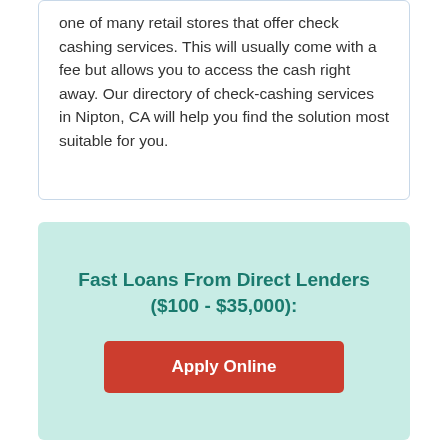one of many retail stores that offer check cashing services. This will usually come with a fee but allows you to access the cash right away. Our directory of check-cashing services in Nipton, CA will help you find the solution most suitable for you.
Fast Loans From Direct Lenders ($100 - $35,000):
Apply Online